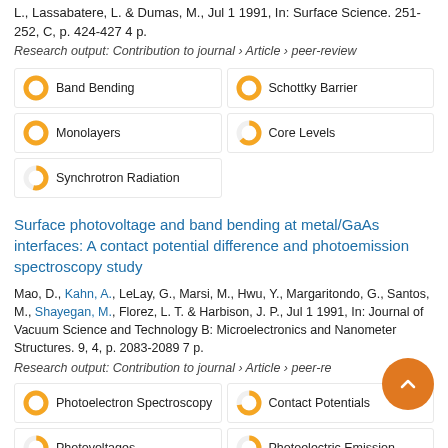L., Lassabatere, L. & Dumas, M., Jul 1 1991, In: Surface Science. 251-252, C, p. 424-427 4 p.
Research output: Contribution to journal › Article › peer-review
Band Bending
Schottky Barrier
Monolayers
Core Levels
Synchrotron Radiation
Surface photovoltage and band bending at metal/GaAs interfaces: A contact potential difference and photoemission spectroscopy study
Mao, D., Kahn, A., LeLay, G., Marsi, M., Hwu, Y., Margaritondo, G., Santos, M., Shayegan, M., Florez, L. T. & Harbison, J. P., Jul 1 1991, In: Journal of Vacuum Science and Technology B: Microelectronics and Nanometer Structures. 9, 4, p. 2083-2089 7 p.
Research output: Contribution to journal › Article › peer-review
Photoelectron Spectroscopy
Contact Potentials
Photovoltages
Photoelectric Emission